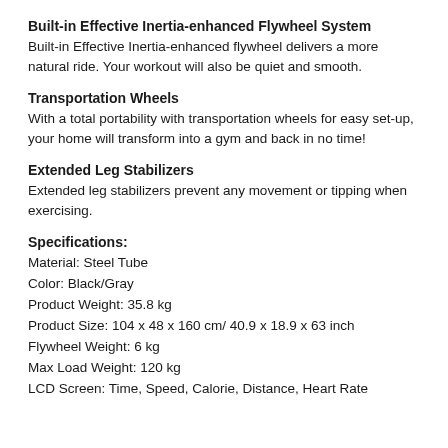Built-in Effective Inertia-enhanced Flywheel System
Built-in Effective Inertia-enhanced flywheel delivers a more natural ride. Your workout will also be quiet and smooth.
Transportation Wheels
With a total portability with transportation wheels for easy set-up, your home will transform into a gym and back in no time!
Extended Leg Stabilizers
Extended leg stabilizers prevent any movement or tipping when exercising.
Specifications:
Material: Steel Tube
Color: Black/Gray
Product Weight: 35.8 kg
Product Size: 104 x 48 x 160 cm/ 40.9 x 18.9 x 63 inch
Flywheel Weight: 6 kg
Max Load Weight: 120 kg
LCD Screen: Time, Speed, Calorie, Distance, Heart Rate